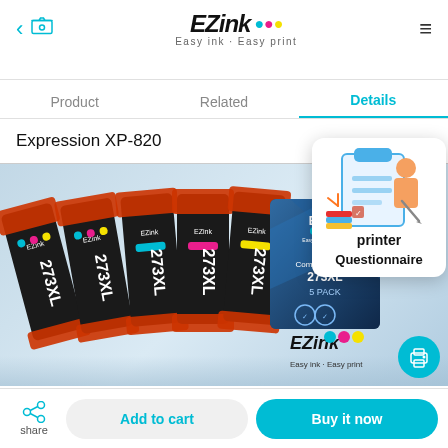EZink Easy ink · Easy print
Product   Related   Details
Expression XP-820
[Figure (photo): EZink 273XL ink cartridge set showing 5 cartridges (2 black, 1 cyan, 1 magenta, 1 yellow) arranged in a product photo, with the EZink branded box showing '273XL 5 PACK' on the right side. Light blue studio background.]
[Figure (infographic): Floating popup overlay showing a clipboard illustration with a figure writing, labeled 'printer' at top and 'Questionnaire' at bottom. Decorative illustration in blue tones.]
Add to cart
Buy it now
share